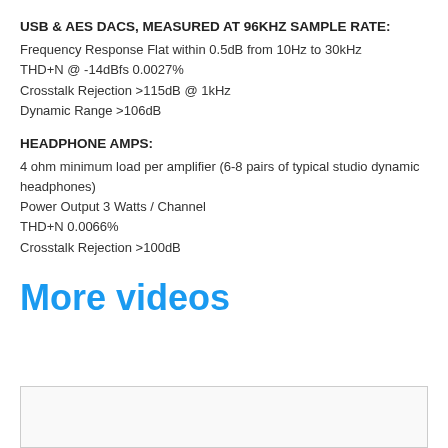USB & AES DACS, MEASURED AT 96KHZ SAMPLE RATE:
Frequency Response Flat within 0.5dB from 10Hz to 30kHz
THD+N @ -14dBfs 0.0027%
Crosstalk Rejection >115dB @ 1kHz
Dynamic Range >106dB
HEADPHONE AMPS:
4 ohm minimum load per amplifier (6-8 pairs of typical studio dynamic headphones)
Power Output 3 Watts / Channel
THD+N 0.0066%
Crosstalk Rejection >100dB
More videos
[Figure (other): Empty video thumbnail box with border]